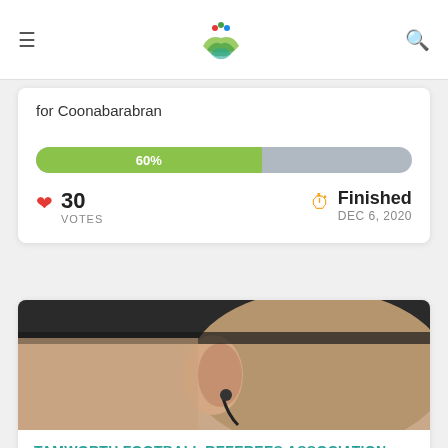≡ [logo] 🔍
for Coonabarabran
[Figure (infographic): Progress bar showing 60% completion, green fill on left, grey on right]
30 VOTES
Finished DEC 6, 2020
[Figure (photo): Close-up photo of a referee's head from behind, wearing an earpiece/headset]
TAMWORTH FOOTBALL REFEREES ASSOCIATION CAMPAIGN
by Admin